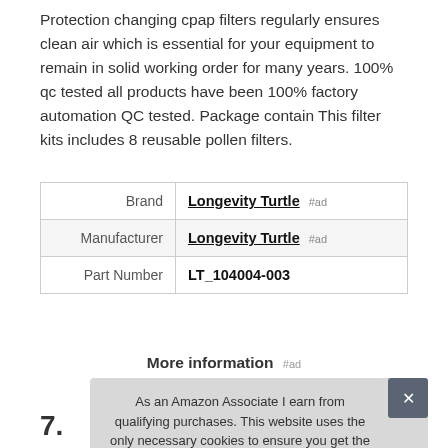Protection changing cpap filters regularly ensures clean air which is essential for your equipment to remain in solid working order for many years. 100% qc tested all products have been 100% factory automation QC tested. Package contain This filter kits includes 8 reusable pollen filters.
| Brand | Longevity Turtle #ad |
| Manufacturer | Longevity Turtle #ad |
| Part Number | LT_104004-003 |
More information #ad
As an Amazon Associate I earn from qualifying purchases. This website uses the only necessary cookies to ensure you get the best experience on our website. More information
7.